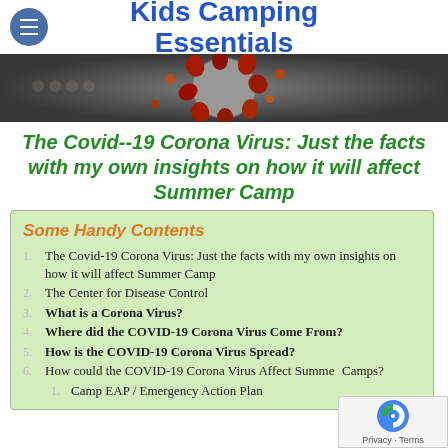Kids Camping Essentials
[Figure (photo): Close-up image of a coronavirus particle (COVID-19) with red and orange spike proteins on a grey surface, dark background, used as hero banner image.]
The Covid--19 Corona Virus: Just the facts with my own insights on how it will affect Summer Camp
Some Handy Contents
1. The Covid-19 Corona Virus: Just the facts with my own insights on how it will affect Summer Camp
2. The Center for Disease Control
3. What is a Corona Virus?
4. Where did the COVID-19 Corona Virus Come From?
5. How is the COVID-19 Corona Virus Spread?
6. How could the COVID-19 Corona Virus Affect Summer Camps?
1. Camp EAP / Emergency Action Plan